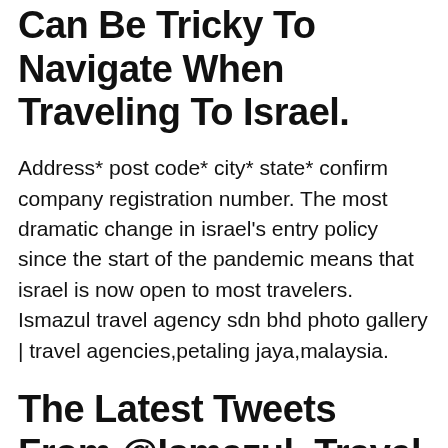Can Be Tricky To Navigate When Traveling To Israel.
Address* post code* city* state* confirm company registration number. The most dramatic change in israel's entry policy since the start of the pandemic means that israel is now open to most travelers. Ismazul travel agency sdn bhd photo gallery | travel agencies,petaling jaya,malaysia.
The Latest Tweets From @Ismazul_Travel
Umrah ismazul kelantan, pasir mas. Ismazul travel tuesday, march 4, 2008. Umrah ismazul merupakan jenama yang diurus oleh